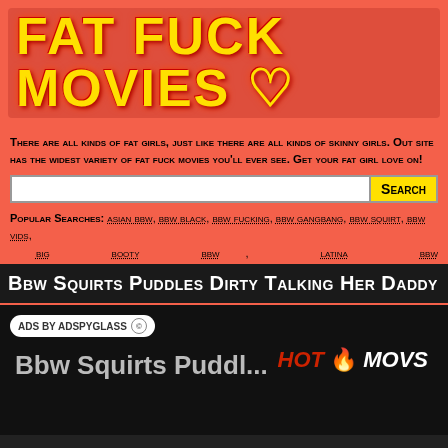FAT FUCK MOVIES ♡
There are all kinds of fat girls, just like there are all kinds of skinny girls. Out site has the widest variety of fat fuck movies you'll ever see. Get your fat girl love on!
Search
Popular Searches: asian bbw, bbw black, bbw fucking, bbw gangbang, bbw squirt, bbw vids, big booty bbw, latina bbw
Bbw Squirts Puddles Dirty Talking Her Daddy
[Figure (screenshot): Video embed area with ADS BY ADSPYGLASS badge, overlay title text 'Bbw Squirts Puddl...' and HOT MOVS logo on dark background]
[Figure (screenshot): Dark video player area with 'This video wa...' watermark text and play button circle overlay, partial person silhouette visible]